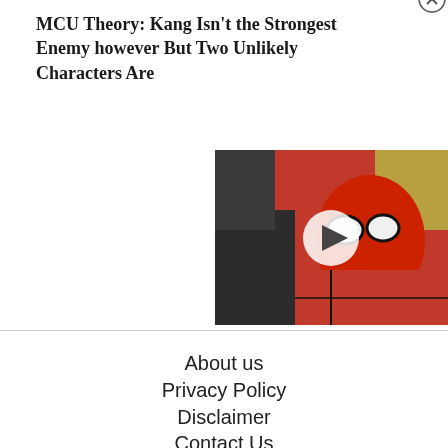MCU Theory: Kang Isn’t the Strongest Enemy however But Two Unlikely Characters Are
[Figure (screenshot): Video thumbnail showing Spider-Man in red suit with a play button overlay, close button (X in circle) in top right corner]
About us
Privacy Policy
Disclaimer
Contact Us